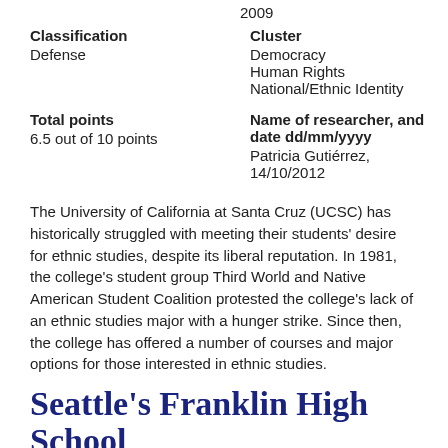2009
Classification
Defense
Cluster
Democracy
Human Rights
National/Ethnic Identity
Total points
6.5 out of 10 points
Name of researcher, and date dd/mm/yyyy
Patricia Gutiérrez, 14/10/2012
The University of California at Santa Cruz (UCSC) has historically struggled with meeting their students' desire for ethnic studies, despite its liberal reputation. In 1981, the college's student group Third World and Native American Student Coalition protested the college's lack of an ethnic studies major with a hunger strike. Since then, the college has offered a number of courses and major options for those interested in ethnic studies.
Seattle's Franklin High School